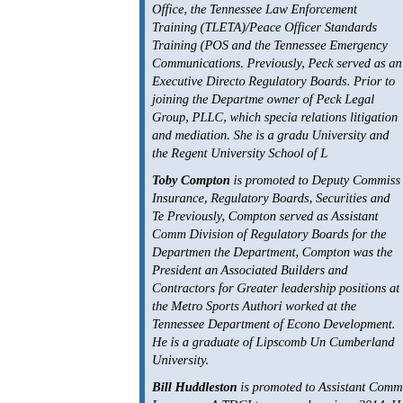Office, the Tennessee Law Enforcement Training (TLETA)/Peace Officer Standards Training (POST), and the Tennessee Emergency Communications. Previously, Peck served as an Executive Director of Regulatory Boards. Prior to joining the Department, owner of Peck Legal Group, PLLC, which specializes in relations litigation and mediation. She is a graduate of University and the Regent University School of Law.
Toby Compton is promoted to Deputy Commissioner of Insurance, Regulatory Boards, Securities and Tennessee. Previously, Compton served as Assistant Commissioner Division of Regulatory Boards for the Department. Before the Department, Compton was the President and CEO of Associated Builders and Contractors for Greater Tennessee, leadership positions at the Metro Sports Authority, and worked at the Tennessee Department of Economic and Development. He is a graduate of Lipscomb University and Cumberland University.
Bill Huddleston is promoted to Assistant Commissioner of Insurance. A TDCI team member since 2014, Huddleston previously served as the Director of Insurance.